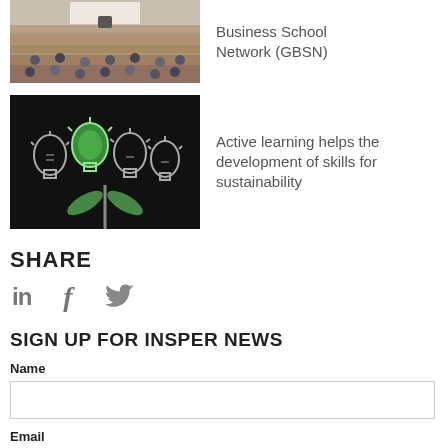[Figure (photo): Lecture hall with students seated, presenter at front with projection screen]
Business School Network (GBSN)
[Figure (photo): Chalkboard drawing of lightbulbs growing from flower stem, one glowing green]
Active learning helps the development of skills for sustainability
SHARE
in  f  [twitter bird icon]
SIGN UP FOR INSPER NEWS
Name
Email